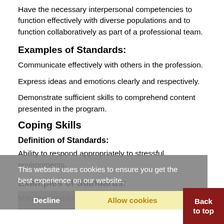Have the necessary interpersonal competencies to function effectively with diverse populations and to function collaboratively as part of a professional team.
Examples of Standards:
Communicate effectively with others in the profession.
Express ideas and emotions clearly and respectively.
Demonstrate sufficient skills to comprehend content presented in the program.
Coping Skills
Definition of Standards:
Ability to respond appropriately to stressful environments.
Examples of Standards:
Manage schedules and deadlines.